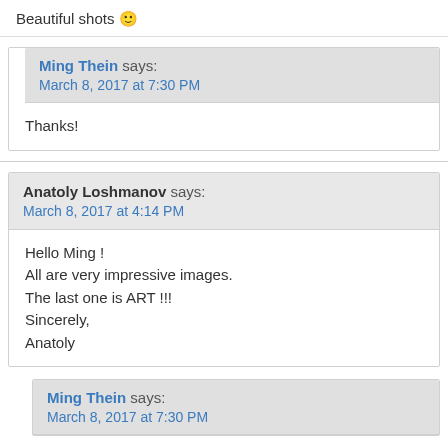Beautiful shots 🙂
Ming Thein says:
March 8, 2017 at 7:30 PM
Thanks!
Anatoly Loshmanov says:
March 8, 2017 at 4:14 PM
Hello Ming !
All are very impressive images.
The last one is ART !!!
Sincerely,
Anatoly
Ming Thein says:
March 8, 2017 at 7:30 PM